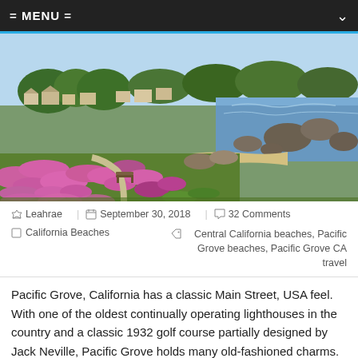= MENU =
[Figure (photo): Coastal California scene showing pink and purple wildflowers (ice plant) cascading over rocky shoreline with blue ocean water, sandy beach, rocky outcroppings, a park bench, and residential neighborhood with trees in the background under a blue sky. Location: Pacific Grove, California.]
Leahrae | September 30, 2018 | 32 Comments
California Beaches  Central California beaches, Pacific Grove beaches, Pacific Grove CA travel
Pacific Grove, California has a classic Main Street, USA feel. With one of the oldest continually operating lighthouses in the country and a classic 1932 golf course partially designed by Jack Neville, Pacific Grove holds many old-fashioned charms.  Pacific Grove beaches are the number-one feature many come to enjoy.